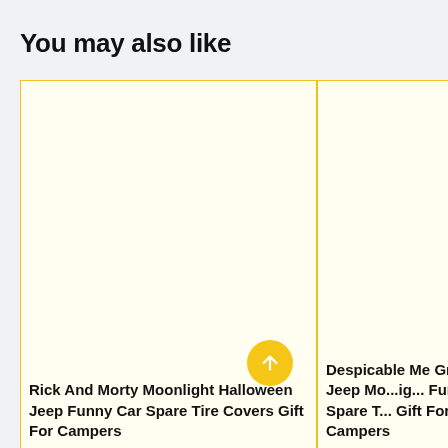You may also like
[Figure (other): Product card placeholder image area with yellow border - left card (Rick And Morty Moonlight Halloween Jeep Funny Car Spare Tire Covers Gift For Campers)]
Rick And Morty Moonlight Halloween Jeep Funny Car Spare Tire Covers Gift For Campers
[Figure (other): Product card placeholder image area with yellow border - right card (Despicable Me Gru Ride Jeep Moonlight Funny Car Spare Tire Gift For Campers)]
Despicable Me Gru Ride Jeep Moonlight Funny Car Spare Tire Gift For Campers